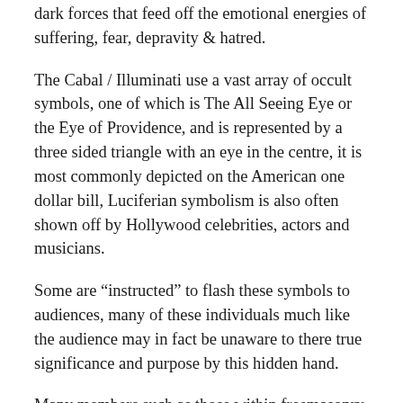dark forces that feed off the emotional energies of suffering, fear, depravity & hatred.
The Cabal / Illuminati use a vast array of occult symbols, one of which is The All Seeing Eye or the Eye of Providence, and is represented by a three sided triangle with an eye in the centre, it is most commonly depicted on the American one dollar bill, Luciferian symbolism is also often shown off by Hollywood celebrities, actors and musicians.
Some are “instructed” to flash these symbols to audiences, many of these individuals much like the audience may in fact be unaware to there true significance and purpose by this hidden hand.
Many members such as those within freemasonry, are told they are apart of a charitable organisation, however it is only until one reaches the highest ech...